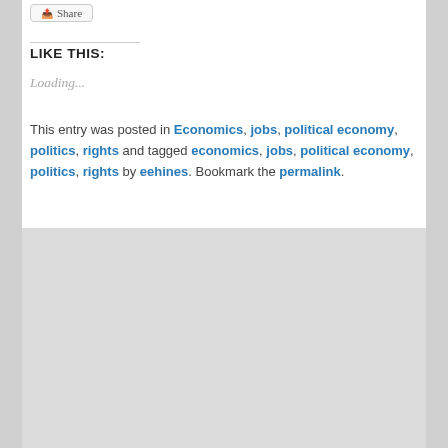Share
LIKE THIS:
Loading...
This entry was posted in Economics, jobs, political economy, politics, rights and tagged economics, jobs, political economy, politics, rights by eehines. Bookmark the permalink.
Leave a Reply
Your email address will not be published. Required fields are marked *
Comment